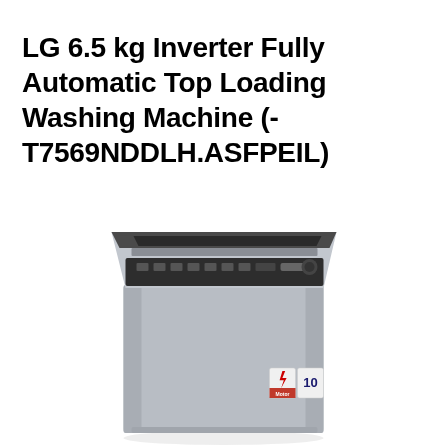LG 6.5 kg Inverter Fully Automatic Top Loading Washing Machine (-T7569NDDLH.ASFPEIL)
[Figure (photo): LG 6.5 kg top loading washing machine in silver/grey color with black top lid and control panel. Two small certification/rating badges visible on the front lower right area.]